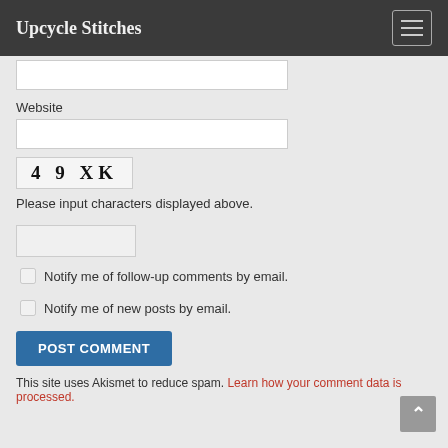Upcycle Stitches
Website
[Figure (other): CAPTCHA image showing characters: 49 XK]
Please input characters displayed above.
Notify me of follow-up comments by email.
Notify me of new posts by email.
POST COMMENT
This site uses Akismet to reduce spam. Learn how your comment data is processed.